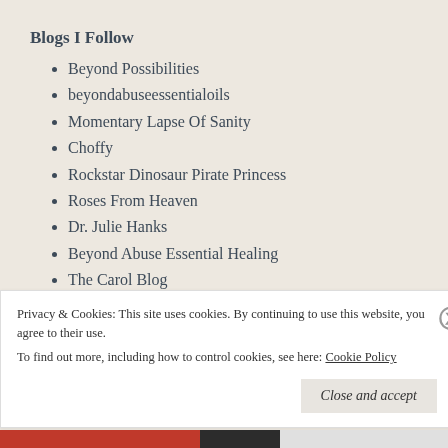Blogs I Follow
Beyond Possibilities
beyondabuseessentialoils
Momentary Lapse Of Sanity
Choffy
Rockstar Dinosaur Pirate Princess
Roses From Heaven
Dr. Julie Hanks
Beyond Abuse Essential Healing
The Carol Blog
ronaibrumett blogs
Privacy & Cookies: This site uses cookies. By continuing to use this website, you agree to their use. To find out more, including how to control cookies, see here: Cookie Policy
Close and accept